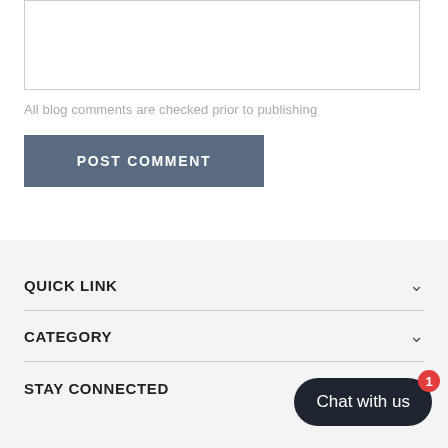All blog comments are checked prior to publishing
POST COMMENT
QUICK LINK
CATEGORY
STAY CONNECTED
Chat with us